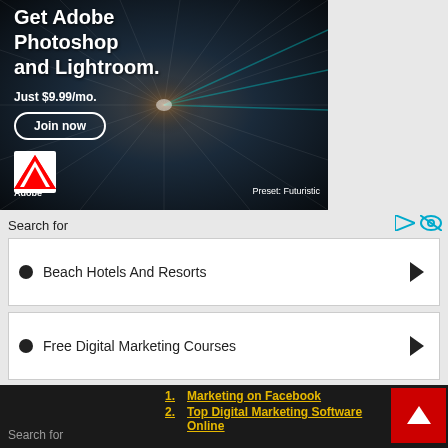[Figure (screenshot): Adobe advertisement banner showing a futuristic tunnel background with text 'Get Adobe Photoshop and Lightroom. Just $9.99/mo.' and a 'Join now' button, Adobe logo, and 'Preset: Futuristic' label.]
Search for
Beach Hotels And Resorts
Free Digital Marketing Courses
Search for
1. Marketing on Facebook
2. Top Digital Marketing Software Online